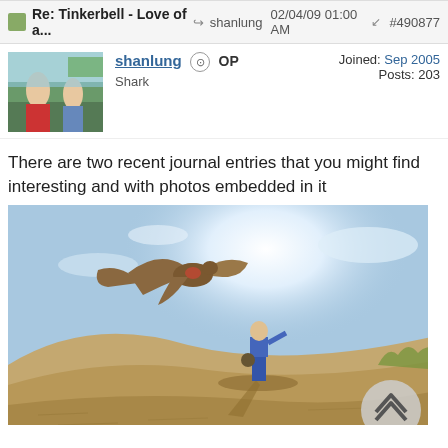Re: Tinkerbell - Love of a...  shanlung  02/04/09 01:00 AM  #490877
shanlung  OP
Shark
Joined: Sep 2005
Posts: 203
There are two recent journal entries that you might find interesting and with photos embedded in it
[Figure (photo): A bird (hawk or falcon) in flight with wings spread, above a person standing on a sandy dune/hill. Bright sky background with sun glare.]